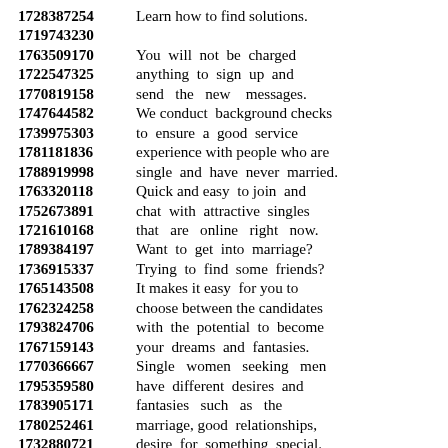1728387254 Learn how to find solutions.
1719743230
1763509170 You will not be charged
1722547325 anything to sign up and
1770819158 send the new messages.
1747644582 We conduct background checks
1739975303 to ensure a good service
1781181836 experience with people who are
1788919998 single and have never married.
1763320118 Quick and easy to join and
1752673891 chat with attractive singles
1721610168 that are online right now.
1789384197 Want to get into marriage?
1736915337 Trying to find some friends?
1765143508 It makes it easy for you to
1762324258 choose between the candidates
1793824706 with the potential to become
1767159143 your dreams and fantasies.
1770366667 Single women seeking men
1795359580 have different desires and
1783905171 fantasies such as the
1780252461 marriage, good relationships,
1732880721 desire for something special.
1715806527 If you are looking for love,
1787776285 want to start dating, or